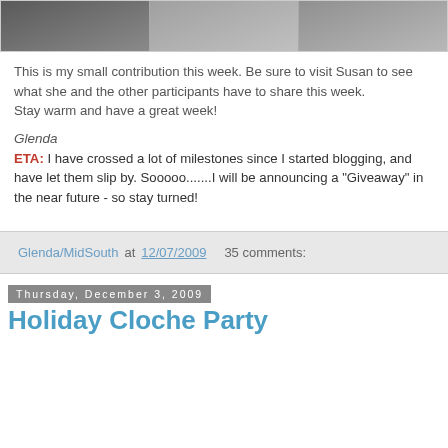[Figure (photo): Cropped photo strip showing winter/snowy scene with fence and fur or foliage details in three segments]
This is my small contribution this week. Be sure to visit Susan to see what she and the other participants have to share this week.
Stay warm and have a great week!
Glenda
ETA: I have crossed a lot of milestones since I started blogging, and have let them slip by. Sooooo.......I will be announcing a "Giveaway" in the near future - so stay turned!
Glenda/MidSouth at 12/07/2009  35 comments:
Thursday, December 3, 2009
Holiday Cloche Party